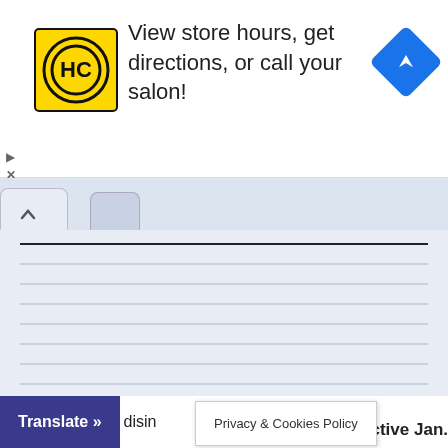[Figure (screenshot): Advertisement banner for a hair salon. Shows HC logo in yellow/black circle on yellow background, text 'View store hours, get directions, or call your salon!', and a blue diamond navigation icon.]
[Figure (screenshot): Browser tab bar showing one active tab with a caret/arrow up icon and one inactive tab.]
[Figure (screenshot): Ruled lines area on a light blue-grey background resembling a notepad.]
Recent Posts
[Figure (screenshot): Bottom browser bar with 'Translate »' purple button, partial text 'disin', Privacy & Cookies Policy popup, and partial text 'ctive Jan.']